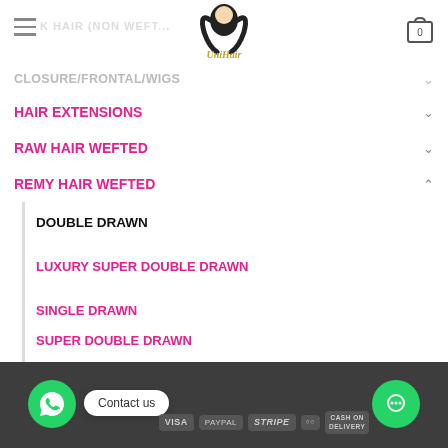UniHair logo and navigation header
K HAIR (NON WEFT) [faded]
CLOSURE/FRONTAL/WIGS
HAIR EXTENSIONS
RAW HAIR WEFTED
REMY HAIR WEFTED
DOUBLE DRAWN
LUXURY SUPER DOUBLE DRAWN
SINGLE DRAWN
SUPER DOUBLE DRAWN
UNIHAIR'S COLOR COLLECTION
Contact us | VISA | PayPal | stripe | MasterCard | CASH ON DELIVERY